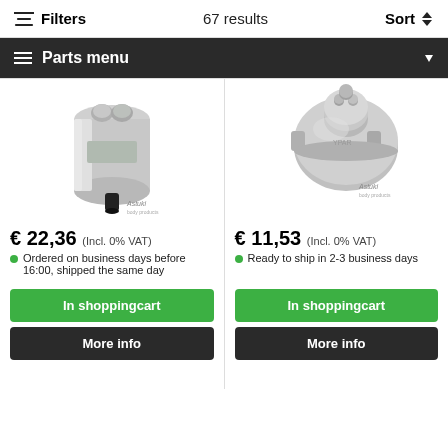Filters  67 results  Sort
Parts menu
[Figure (photo): Silver cylindrical fuel filter with black connector, Astuki brand watermark]
€ 22,36 (Incl. 0% VAT)
Ordered on business days before 16:00, shipped the same day
In shoppingcart
More info
[Figure (photo): Silver round/compact fuel filter top view, Astuki brand watermark]
€ 11,53 (Incl. 0% VAT)
Ready to ship in 2-3 business days
In shoppingcart
More info